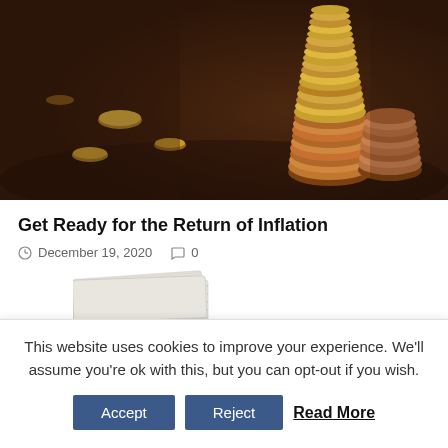[Figure (photo): Photo of stacked coins of various heights on a dark wooden surface, with scattered individual coins in the foreground, suggesting growing savings or inflation.]
Get Ready for the Return of Inflation
December 19, 2020  0
[Figure (illustration): Partial image of what appears to be folded or stacked paper currency with a hatched/crosshatch pattern, partially visible at the bottom of the article section.]
This website uses cookies to improve your experience. We'll assume you're ok with this, but you can opt-out if you wish.
Accept  Reject  Read More